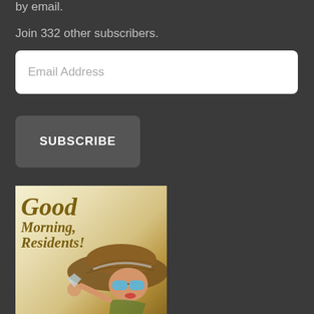by email.
Join 332 other subscribers.
Email Address
SUBSCRIBE
[Figure (illustration): Illustration of a woman wearing a large sun hat and blue sunglasses, holding a drink, with text 'Good Morning Residents!' in olive/golden script lettering on a cream/yellow background]